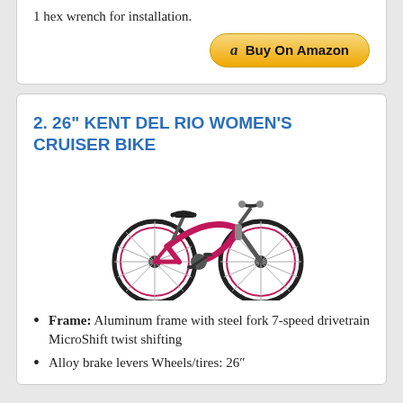1 hex wrench for installation.
[Figure (screenshot): Buy On Amazon button with Amazon logo]
2. 26" KENT DEL RIO WOMEN'S CRUISER BIKE
[Figure (photo): Pink/magenta Kent Del Rio women's cruiser bike with white wheels on white background]
Frame: Aluminum frame with steel fork 7-speed drivetrain MicroShift twist shifting
Alloy brake levers Wheels/tires: 26"